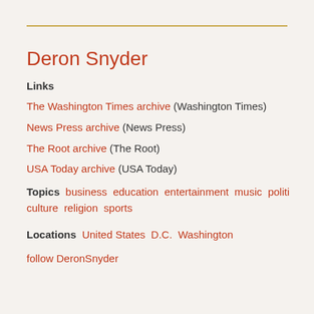Deron Snyder
Links
The Washington Times archive (Washington Times)
News Press archive (News Press)
The Root archive (The Root)
USA Today archive (USA Today)
Topics  business  education  entertainment  music  politics  popular culture  religion  sports
Locations  United States  D.C.  Washington
follow DeronSnyder